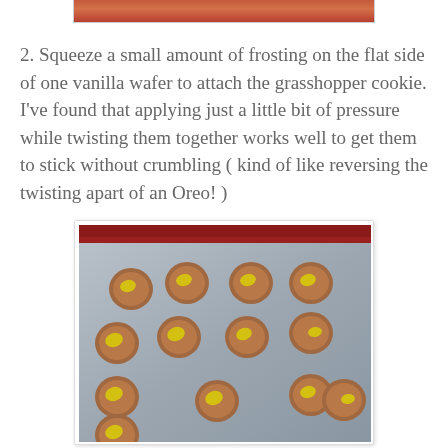[Figure (photo): Partial view of a food photo showing a red cloth or baking surface at the top of the page]
2. Squeeze a small amount of frosting on the flat side of one vanilla wafer to attach the grasshopper cookie. I've found that applying just a little bit of pressure while twisting them together works well to get them to stick without crumbling ( kind of like reversing the twisting apart of an Oreo! )
[Figure (photo): A baking sheet with multiple round vanilla wafer cookies, each with a small dollop of yellow frosting on top, arranged in rows on a silver tray with a red cloth visible at the top]